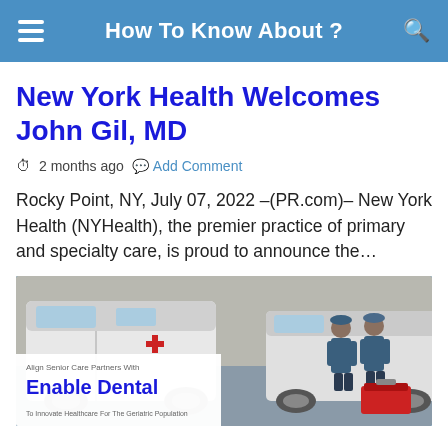How To Know About ?
New York Health Welcomes John Gil, MD
2 months ago   Add Comment
Rocky Point, NY, July 07, 2022 –(PR.com)– New York Health (NYHealth), the premier practice of primary and specialty care, is proud to announce the…
[Figure (photo): Photo of white vans with workers in blue uniforms, overlaid with a dental company promo card reading 'Align Senior Care Partners With Enable Dental – To Innovate Healthcare For The Geriatric Population']